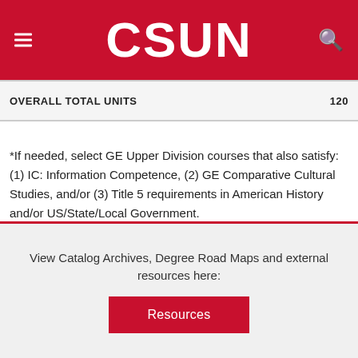CSUN
| OVERALL TOTAL UNITS | 120 |
| --- | --- |
*If needed, select GE Upper Division courses that also satisfy: (1) IC: Information Competence, (2) GE Comparative Cultural Studies, and/or (3) Title 5 requirements in American History and/or US/State/Local Government.
View Catalog Archives, Degree Road Maps and external resources here: Resources